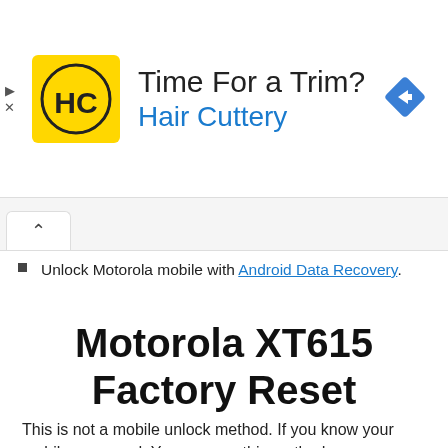[Figure (other): Advertisement banner for Hair Cuttery with yellow HC logo, text 'Time For a Trim?' and 'Hair Cuttery' in blue, and a blue diamond navigation icon on the right]
Unlock Motorola mobile with Android Data Recovery.
Motorola XT615 Factory Reset
This is not a mobile unlock method. If you know your mobile password, You can use this method.